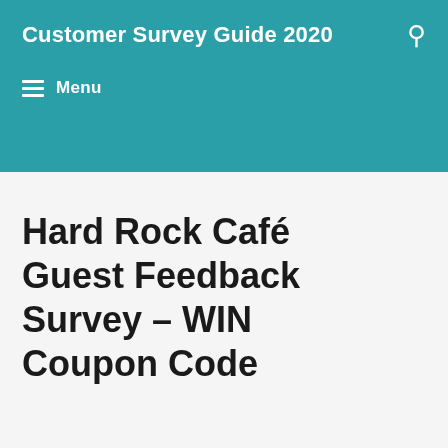Customer Survey Guide 2020
Hard Rock Café Guest Feedback Survey – WIN Coupon Code